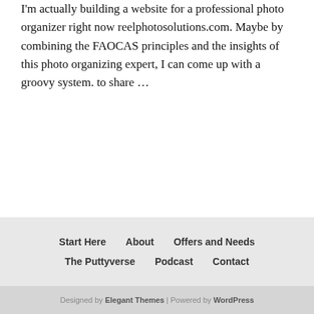I'm actually building a website for a professional photo organizer right now reelphotosolutions.com. Maybe by combining the FAOCAS principles and the insights of this photo organizing expert, I can come up with a groovy system. to share …
Start Here   About   Offers and Needs   The Puttyverse   Podcast   Contact
Designed by Elegant Themes | Powered by WordPress